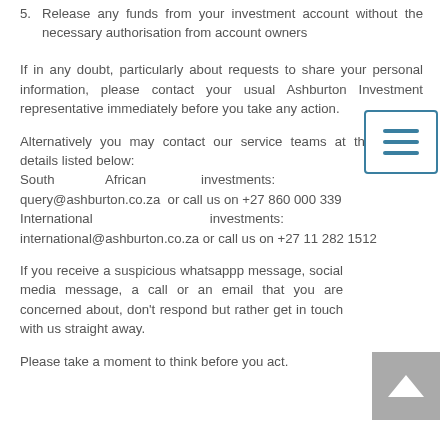5. Release any funds from your investment account without the necessary authorisation from account owners
If in any doubt, particularly about requests to share your personal information, please contact your usual Ashburton Investment representative immediately before you take any action.
Alternatively you may contact our service teams at the contact details listed below:
South African investments: query@ashburton.co.za or call us on +27 860 000 339
International investments: international@ashburton.co.za or call us on +27 11 282 1512
If you receive a suspicious whatsappp message, social media message, a call or an email that you are concerned about, don't respond but rather get in touch with us straight away.
Please take a moment to think before you act.